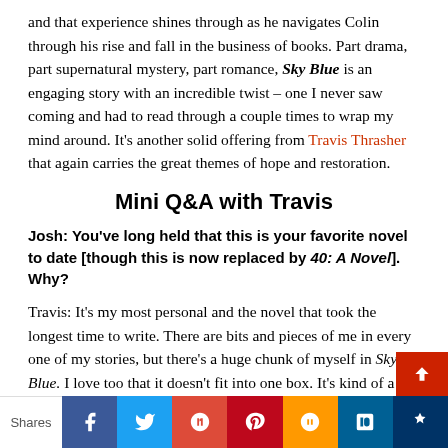and that experience shines through as he navigates Colin through his rise and fall in the business of books. Part drama, part supernatural mystery, part romance, Sky Blue is an engaging story with an incredible twist – one I never saw coming and had to read through a couple times to wrap my mind around. It's another solid offering from Travis Thrasher that again carries the great themes of hope and restoration.
Mini Q&A with Travis
Josh: You've long held that this is your favorite novel to date [though this is now replaced by 40: A Novel]. Why?
Travis: It's my most personal and the novel that took the longest time to write. There are bits and pieces of me in every one of my stories, but there's a huge chunk of myself in Sky Blue. I love too that it doesn't fit into one box. It's kind of a love story, kind of a supernatural thriller, kinda a midlife crisis
Shares | Facebook | Twitter | Google+ | Pinterest | Amazon | Digg | MySpace